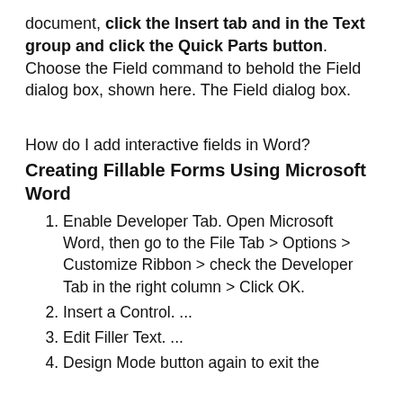document, click the Insert tab and in the Text group and click the Quick Parts button. Choose the Field command to behold the Field dialog box, shown here. The Field dialog box.
How do I add interactive fields in Word?
Creating Fillable Forms Using Microsoft Word
Enable Developer Tab. Open Microsoft Word, then go to the File Tab > Options > Customize Ribbon > check the Developer Tab in the right column > Click OK.
Insert a Control. ...
Edit Filler Text. ...
Design Mode button again to exit the